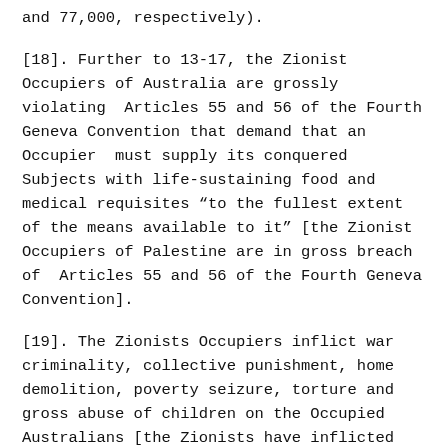and 77,000, respectively).
[18]. Further to 13-17, the Zionist Occupiers of Australia are grossly violating Articles 55 and 56 of the Fourth Geneva Convention that demand that an Occupier must supply its conquered Subjects with life-sustaining food and medical requisites “to the fullest extent of the means available to it” [the Zionist Occupiers of Palestine are in gross breach of Articles 55 and 56 of the Fourth Geneva Convention].
[19]. The Zionists Occupiers inflict war criminality, collective punishment, home demolition, poverty seizure, torture and gross abuse of children on the Occupied Australians [the Zionists have inflicted these same abuses on Occupied Palestinians for 55 years since